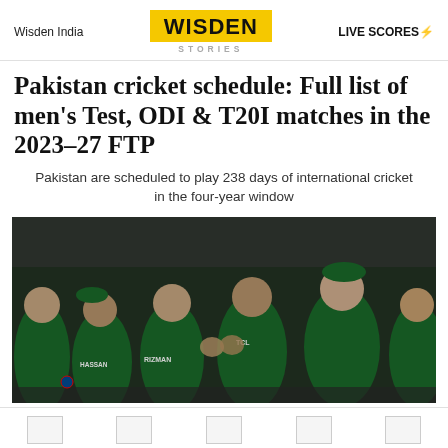Wisden India | WISDEN STORIES | LIVE SCORES
Pakistan cricket schedule: Full list of men's Test, ODI & T20I matches in the 2023–27 FTP
Pakistan are scheduled to play 238 days of international cricket in the four-year window
[Figure (photo): Group of Pakistan cricket players in green jerseys celebrating together on field, including players with jerseys reading RIZWAN, TCL, and others]
MATCHES | STORIES | YOUR GAME | SHOP | MENU